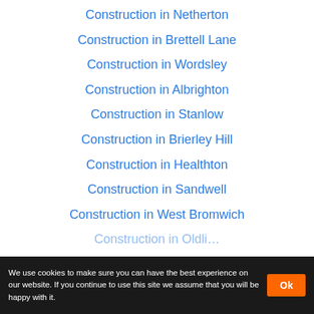Construction in Netherton
Construction in Brettell Lane
Construction in Wordsley
Construction in Albrighton
Construction in Stanlow
Construction in Brierley Hill
Construction in Healthton
Construction in Sandwell
Construction in West Bromwich
Construction in Oldli…
We use cookies to make sure you can have the best experience on our website. If you continue to use this site we assume that you will be happy with it.